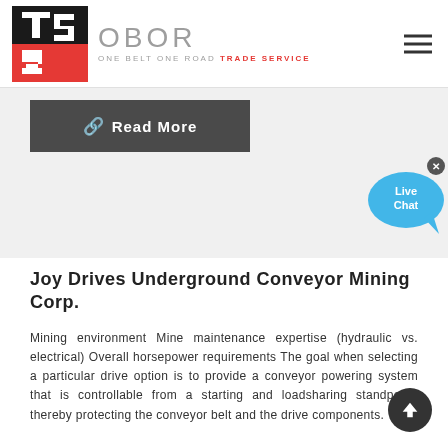OBOR ONE BELT ONE ROAD TRADE SERVICE
Read More
[Figure (illustration): Live Chat speech bubble icon in blue with 'Live Chat' text and a close (x) button]
Joy Drives Underground Conveyor Mining Corp.
Mining environment Mine maintenance expertise (hydraulic vs. electrical) Overall horsepower requirements The goal when selecting a particular drive option is to provide a conveyor powering system that is controllable from a starting and loadsharing standpoint, thereby protecting the conveyor belt and the drive components.